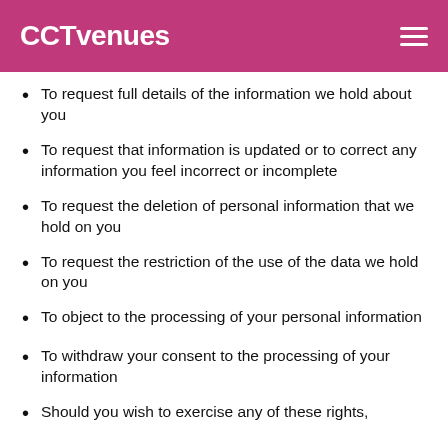CCTvenues
To request full details of the information we hold about you
To request that information is updated or to correct any information you feel incorrect or incomplete
To request the deletion of personal information that we hold on you
To request the restriction of the use of the data we hold on you
To object to the processing of your personal information
To withdraw your consent to the processing of your information
Should you wish to exercise any of these rights,